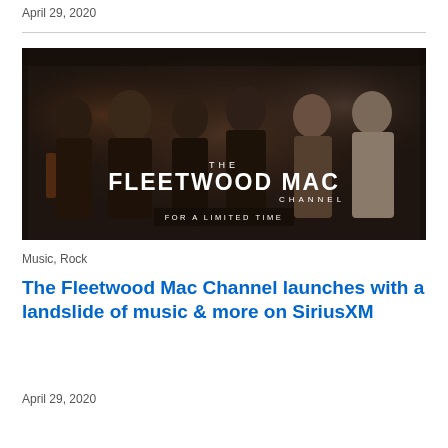April 29, 2020
[Figure (photo): Band photo of Fleetwood Mac members grouped together in a dark hallway setting, with overlaid text reading 'THE FLEETWOOD MAC CHANNEL FOR A LIMITED TIME']
Music, Rock
The Fleetwood Mac Channel launches with a landslide of music & more on SiriusXM
April 29, 2020